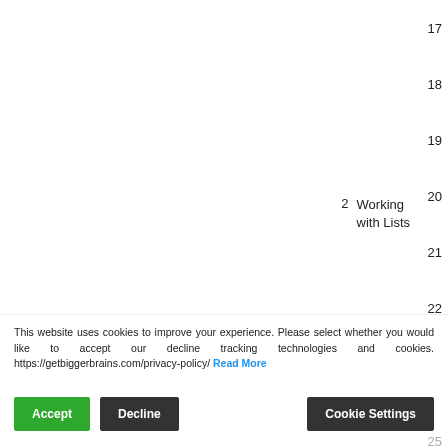17
18
19
2   Working with Lists   20
21
22
23
24
This website uses cookies to improve your experience. Please select whether you would like to accept our decline tracking technologies and cookies. https://getbiggerbrains.com/privacy-policy/ Read More
25